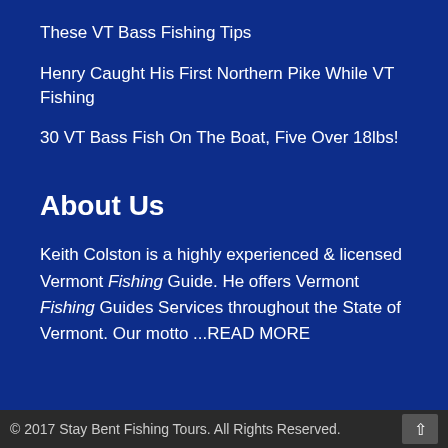These VT Bass Fishing Tips
Henry Caught His First Northern Pike While VT Fishing
30 VT Bass Fish On The Boat, Five Over 18lbs!
About Us
Keith Colston is a highly experienced & licensed Vermont Fishing Guide. He offers Vermont Fishing Guides Services throughout the State of Vermont. Our motto ...READ MORE
© 2017 Stay Bent Fishing Tours. All Rights Reserved.